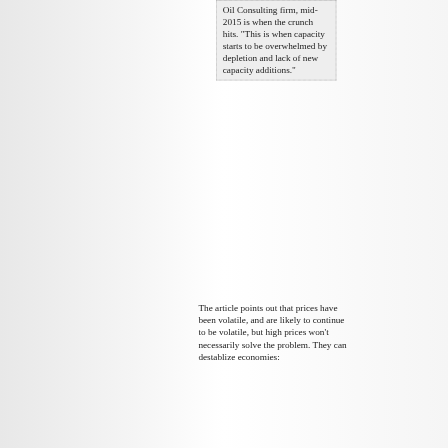Oil Consulting firm, mid-2015 is when the crunch hits. "This is when capacity starts to be overwhelmed by depletion and lack of new capacity additions."
The article points out that prices have been volatile, and are likely to continue to be volatile, but high prices won't necessarily solve the problem. They can destablize economies: